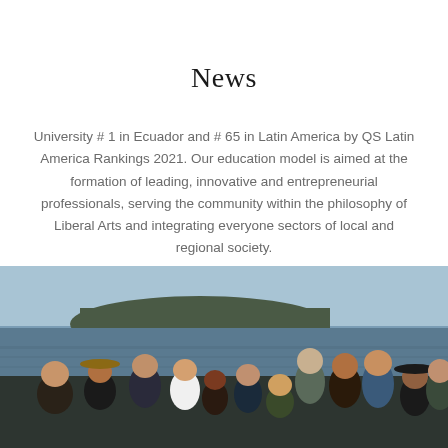News
University # 1 in Ecuador and # 65 in Latin America by QS Latin America Rankings 2021. Our education model is aimed at the formation of leading, innovative and entrepreneurial professionals, serving the community within the philosophy of Liberal Arts and integrating everyone sectors of local and regional society.
[Figure (photo): Group photo of approximately 13 people on a boat on the ocean with a rocky island visible in the background. The group is smiling and posing together.]